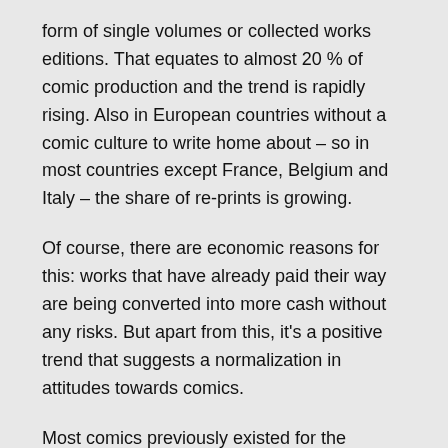form of single volumes or collected works editions. That equates to almost 20 % of comic production and the trend is rapidly rising. Also in European countries without a comic culture to write home about – so in most countries except France, Belgium and Italy – the share of re-prints is growing.
Of course, there are economic reasons for this: works that have already paid their way are being converted into more cash without any risks. But apart from this, it's a positive trend that suggests a normalization in attitudes towards comics.
Most comics previously existed for the duration of one or two print runs; once they sold out, they weren't re-printed. Since scarcely any libraries were consciously collecting comics – the comic was regarded as not